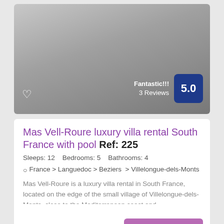[Figure (photo): Gray gradient image area representing a villa photo with heart icon and rating overlay]
Fantastic!!! 3 Reviews
5.0
Mas Vell-Roure luxury villa rental South France with pool Ref: 225
Sleeps: 12   Bedrooms: 5   Bathrooms: 4
France > Languedoc > Beziers > Villelongue-dels-Monts
Mas Vell-Roure is a luxury villa rental in South France, located on the edge of the small village of Villelongue-dels-Monts, close to the Mediterranean coast and...
142,00 € / per Night